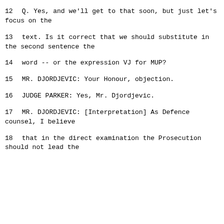12        Q.   Yes, and we'll get to that soon, but just let's focus on the
13      text.  Is it correct that we should substitute in the second sentence the
14      word -- or the expression VJ for MUP?
15              MR. DJORDJEVIC:  Your Honour, objection.
16              JUDGE PARKER:  Yes, Mr. Djordjevic.
17              MR. DJORDJEVIC: [Interpretation] As Defence counsel, I believe
18      that in the direct examination the Prosecution should not lead the